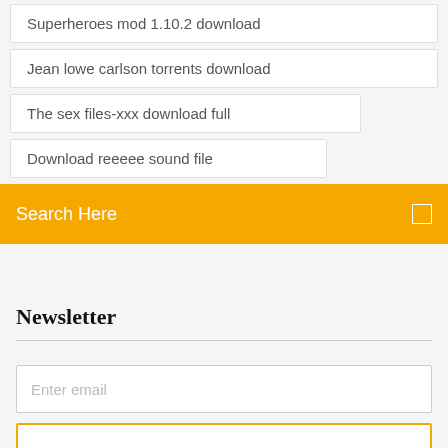Superheroes mod 1.10.2 download
Jean lowe carlson torrents download
The sex files-xxx download full
Download reeeee sound file
Search Here
Newsletter
Enter email